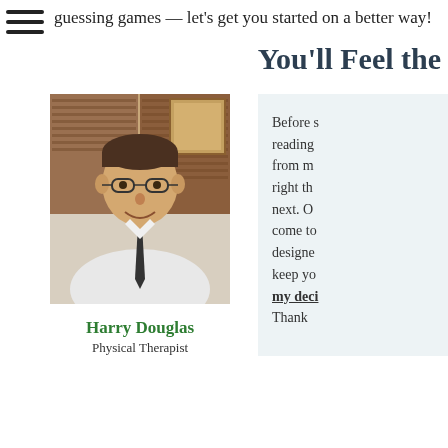guessing games — let’s get you started on a better way!
You’ll Feel the W
[Figure (photo): Portrait photo of Harry Douglas, a man wearing glasses and a dark tie, smiling, in an indoor setting with wooden blinds and framed artwork visible in the background.]
Harry Douglas
Physical Therapist
Before s reading from m right th next. O come to designe keep yo my deci Thank